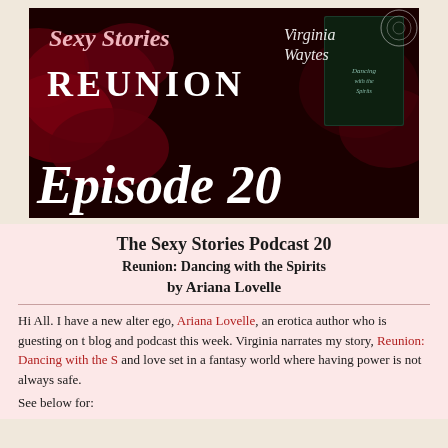[Figure (illustration): Podcast episode banner for 'Sexy Stories Reunion Episode 20' featuring Virginia Waytes. Dark red rose background with white script and serif text, and a book cover image on the right.]
The Sexy Stories Podcast 20
Reunion: Dancing with the Spirits
by Ariana Lovelle
Hi All. I have a new alter ego, Ariana Lovelle, an erotica author who is guesting on blog and podcast this week. Virginia narrates my story, Reunion: Dancing with the S and love set in a fantasy world where having power is not always safe.
See below for: